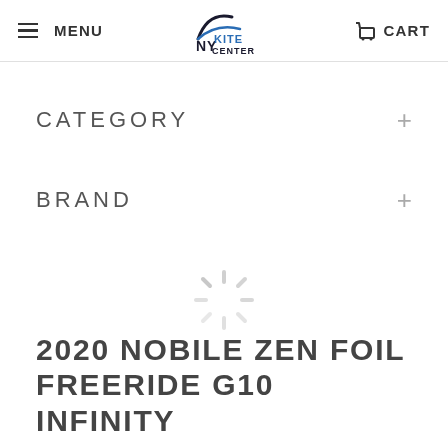MENU | NY KITE CENTER | CART
CATEGORY +
BRAND +
[Figure (other): Loading spinner / activity indicator in light gray]
2020 NOBILE ZEN FOIL FREERIDE G10 INFINITY